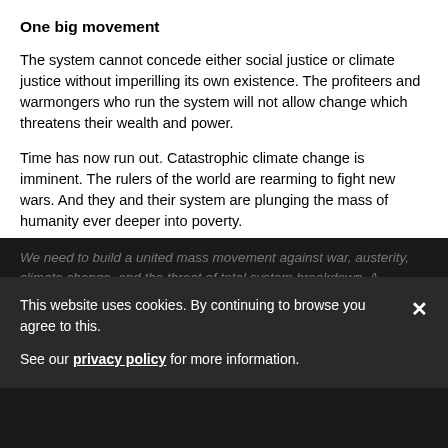One big movement
The system cannot concede either social justice or climate justice without imperilling its own existence. The profiteers and warmongers who run the system will not allow change which threatens their wealth and power.
Time has now run out. Catastrophic climate change is imminent. The rulers of the world are rearming to fight new wars. And they and their system are plunging the mass of humanity ever deeper into poverty.
We need to build a united mass movement against war, austerity, climate change, and the threat of total system breakdown. A movement bringing together those who are fighting against all manifestations of the system's general crisis.
well-read thinker — an encyclopaedia of movements and activist. He was one of the organisers of the This Changes
This website uses cookies. By continuing to browse you agree to this.

See our privacy policy for more information.